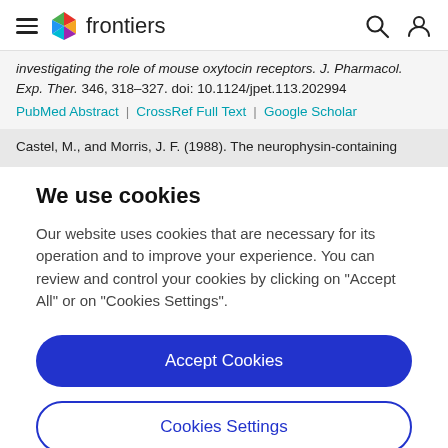frontiers
investigating the role of mouse oxytocin receptors. J. Pharmacol. Exp. Ther. 346, 318–327. doi: 10.1124/jpet.113.202994
PubMed Abstract | CrossRef Full Text | Google Scholar
Castel, M., and Morris, J. F. (1988). The neurophysin-containing
We use cookies
Our website uses cookies that are necessary for its operation and to improve your experience. You can review and control your cookies by clicking on "Accept All" or on "Cookies Settings".
Accept Cookies
Cookies Settings